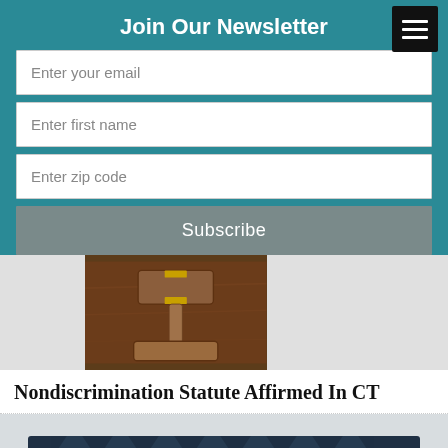Join Our Newsletter
Enter your email
Enter first name
Enter zip code
Subscribe
[Figure (photo): A wooden gavel resting on its sound block on a wooden surface, cropped view]
Nondiscrimination Statute Affirmed In CT
[Figure (logo): Pleasantrees logo with triangle icon, brand name, and 'Hey Amherst!' text on dark navy background with triangle pattern]